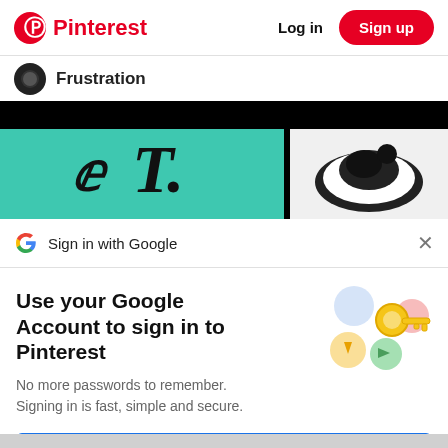Pinterest  Log in  Sign up
Frustration
[Figure (screenshot): Partial screenshot showing a black background at top with teal section and stylized serif letter T, and a right panel with black and white illustration.]
Sign in with Google
Use your Google Account to sign in to Pinterest
[Figure (illustration): Google key illustration with colorful circles and a golden key]
No more passwords to remember.
Signing in is fast, simple and secure.
Continue